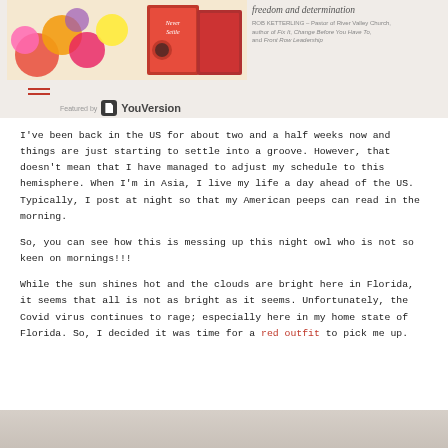[Figure (photo): Top banner area showing a book cover with flowers and a YouVersion featured badge, with an italic quote and author attribution on the right side.]
I've been back in the US for about two and a half weeks now and things are just starting to settle into a groove. However, that doesn't mean that I have managed to adjust my schedule to this hemisphere. When I'm in Asia, I live my life a day ahead of the US. Typically, I post at night so that my American peeps can read in the morning.
So, you can see how this is messing up this night owl who is not so keen on mornings!!!
While the sun shines hot and the clouds are bright here in Florida, it seems that all is not as bright as it seems. Unfortunately, the Covid virus continues to rage; especially here in my home state of Florida. So, I decided it was time for a red outfit to pick me up.
[Figure (photo): Partial bottom image strip showing what appears to be a light-colored surface or background.]